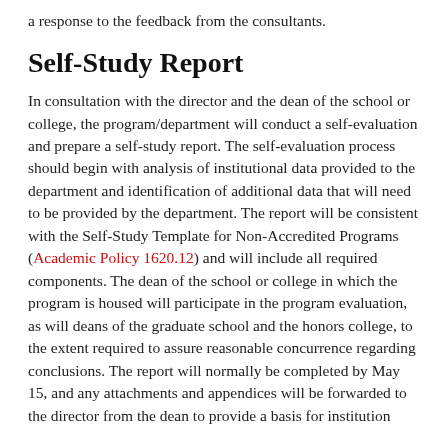a response to the feedback from the consultants.
Self-Study Report
In consultation with the director and the dean of the school or college, the program/department will conduct a self-evaluation and prepare a self-study report. The self-evaluation process should begin with analysis of institutional data provided to the department and identification of additional data that will need to be provided by the department. The report will be consistent with the Self-Study Template for Non-Accredited Programs (Academic Policy 1620.12) and will include all required components. The dean of the school or college in which the program is housed will participate in the program evaluation, as will deans of the graduate school and the honors college, to the extent required to assure reasonable concurrence regarding conclusions. The report will normally be completed by May 15, and any attachments and appendices will be forwarded to the director from the dean to provide a basis for institution